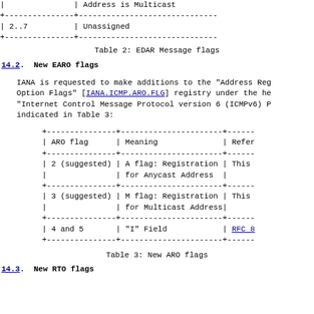|  | Address is Multicast |
| --- | --- |
| 2..7 | Unassigned |
Table 2: EDAR Message flags
14.2. New EARO flags
IANA is requested to make additions to the "Address Reg Option Flags" [IANA.ICMP.ARO.FLG] registry under the he "Internet Control Message Protocol version 6 (ICMPv6) P indicated in Table 3:
| ARO flag | Meaning | Refer |
| --- | --- | --- |
| 2 (suggested) | A flag: Registration
for Anycast Address | This |
| 3 (suggested) | M flag: Registration
for Multicast Address | This |
| 4 and 5 | "I" Field | RFC 8 |
Table 3: New ARO flags
14.3. New RTO flags